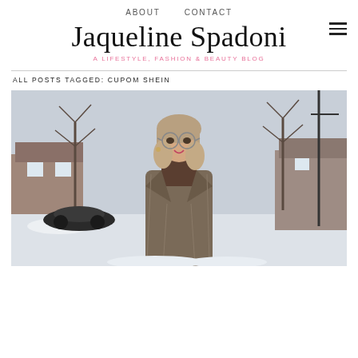ABOUT   CONTACT
Jaqueline Spadoni — A LIFESTYLE, FASHION & BEAUTY BLOG
ALL POSTS TAGGED: CUPOM SHEIN
[Figure (photo): A young blonde woman wearing glasses, a brown turtleneck, and a plaid coat, standing on a snowy suburban street with bare trees, parked cars, and houses in the background.]